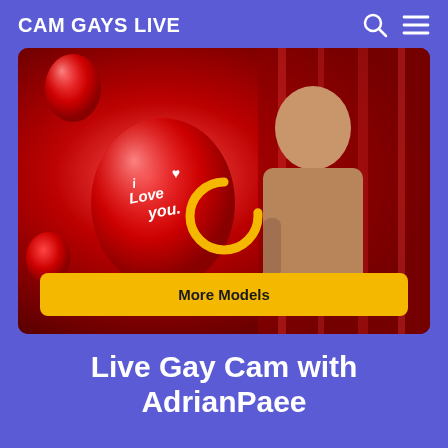CAM GAYS LIVE
[Figure (photo): A muscular shirtless man in white underwear holding a red 'I Love You' heart balloon against a red shiny background, with a gold loading ring overlay and a 'More Models' yellow button at the bottom]
Live Gay Cam with AdrianPaee